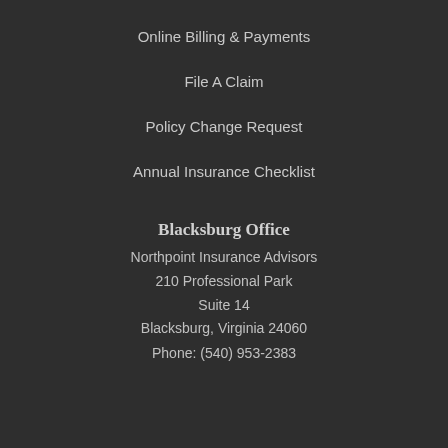Online Billing & Payments
File A Claim
Policy Change Request
Annual Insurance Checklist
Blacksburg Office
Northpoint Insurance Advisors
210 Professional Park
Suite 14
Blacksburg, Virginia 24060
Phone: (540) 953-2383